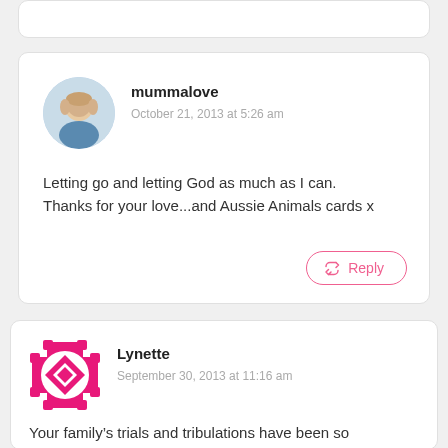[Figure (screenshot): Top partial comment card, partially visible at top of page]
mummalove
October 21, 2013 at 5:26 am
Letting go and letting God as much as I can. Thanks for your love...and Aussie Animals cards x
Reply
[Figure (logo): Pink geometric/diamond pattern avatar icon for user Lynette]
Lynette
September 30, 2013 at 11:16 am
Your family’s trials and tribulations have been so eloquently expressed by you. Wishing you and your wonderful family all the luck in the world. Your